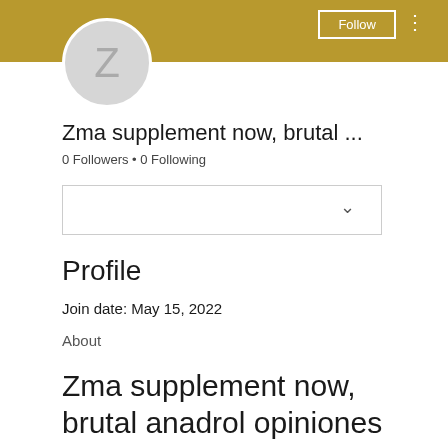[Figure (screenshot): Gold/tan colored header banner with Follow button and three-dots menu on the right]
[Figure (illustration): Circular avatar with light gray background and letter Z in gray]
Zma supplement now, brutal ...
0 Followers • 0 Following
[Figure (screenshot): Dropdown selector box with chevron on right]
Profile
Join date: May 15, 2022
About
Zma supplement now, brutal anadrol opiniones